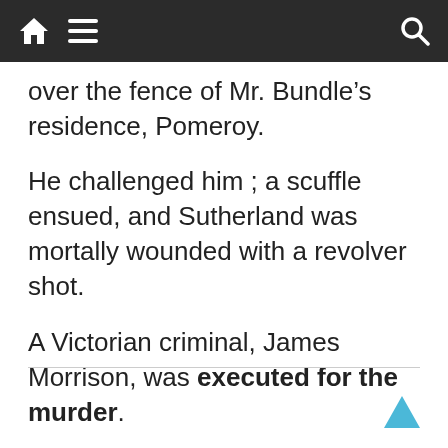Navigation bar with home, menu, and search icons
over the fence of Mr. Bundle’s residence, Pomeroy.
He challenged him ; a scuffle ensued, and Sutherland was mortally wounded with a revolver shot.
A Victorian criminal, James Morrison, was executed for the murder.
04 Aug 1901 – THE CRITIC. – Trove